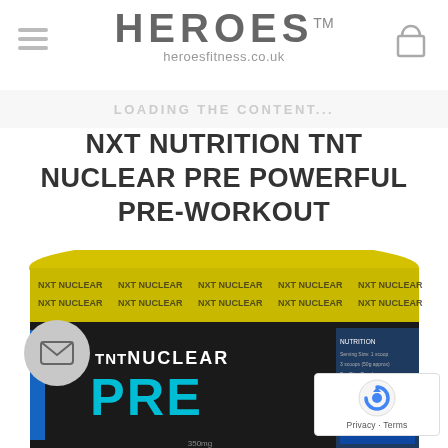HEROES™ heroesfitness.co.uk
LOADING THE CONTENT...
NXT NUTRITION TNT NUCLEAR PRE POWERFUL PRE-WORKOUT
[Figure (photo): Product photo of TNT Nuclear Pre pre-workout supplement container with yellow lid and black label showing 'TNT NUCLEAR PRE' branding]
[Figure (logo): reCAPTCHA badge with Privacy and Terms links]